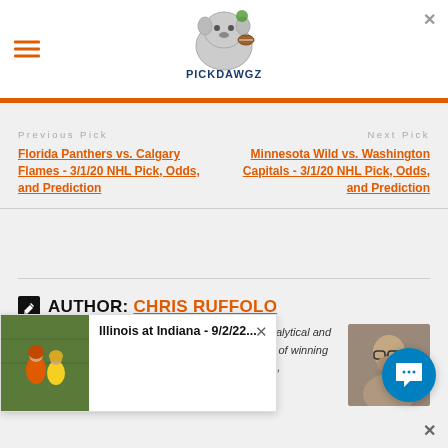[Figure (logo): Pickdawgz logo with bulldog mascot holding football]
Previous Pick
Next Pick
Florida Panthers vs. Calgary Flames - 3/1/20 NHL Pick, Odds, and Prediction
Minnesota Wild vs. Washington Capitals - 3/1/20 NHL Pick, Odds, and Prediction
AUTHOR: CHRIS RUFFOLO
Chris has a proven system that combines multiple analytical and situational statistics and trends to give out thousands of winning picks over the last three years with of the top leagues, Twitter @ruffthepickdawg
[Figure (screenshot): Popup overlay: Illinois at Indiana - 9/2/22... with football game photo]
[Figure (other): Chat support button (blue circle)]